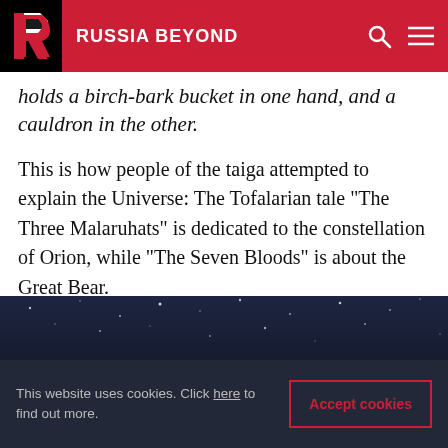RUSSIA BEYOND
holds a birch-bark bucket in one hand, and a cauldron in the other.
This is how people of the taiga attempted to explain the Universe: The Tofalarian tale "The Three Malaruhats" is dedicated to the constellation of Orion, while "The Seven Bloods" is about the Great Bear.
5. Tales of the 21st century tundra
[Figure (photo): Dark night sky with stars, bottom of page]
This website uses cookies. Click here to find out more.